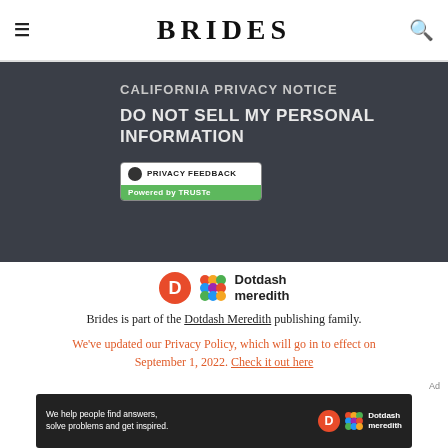BRIDES
CALIFORNIA PRIVACY NOTICE
DO NOT SELL MY PERSONAL INFORMATION
[Figure (logo): Privacy Feedback badge powered by TRUSTe]
[Figure (logo): Dotdash Meredith logo with D circle and grid icon]
Brides is part of the Dotdash Meredith publishing family.
We've updated our Privacy Policy, which will go in to effect on September 1, 2022. Check it out here
Ad
[Figure (screenshot): Dotdash Meredith advertisement banner: We help people find answers, solve problems and get inspired.]